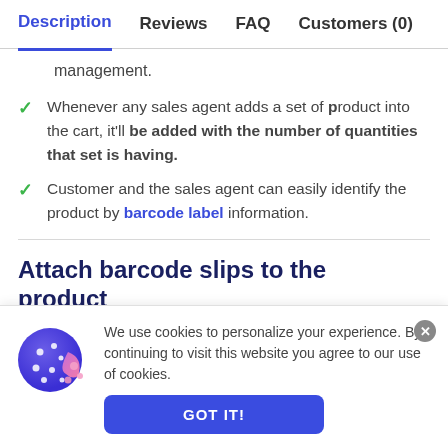Description  Reviews  FAQ  Customers (0)
management.
Whenever any sales agent adds a set of product into the cart, it'll be added with the number of quantities that set is having.
Customer and the sales agent can easily identify the product by barcode label information.
Attach barcode slips to the product
Live Chat
We use cookies to personalize your experience. By continuing to visit this website you agree to our use of cookies.
GOT IT!